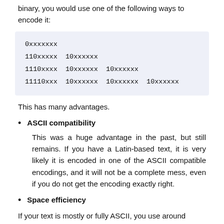binary, you would use one of the following ways to encode it:
0xxxxxxx
110xxxxx 10xxxxxx
1110xxxx 10xxxxxx 10xxxxxx
11110xxx 10xxxxxx 10xxxxxx 10xxxxxx
This has many advantages.
ASCII compatibility
This was a huge advantage in the past, but still remains. If you have a Latin-based text, it is very likely it is encoded in one of the ASCII compatible encodings, and it will not be a complete mess, even if you do not get the encoding exactly right.
Space efficiency
If your text is mostly or fully ASCII, you use around